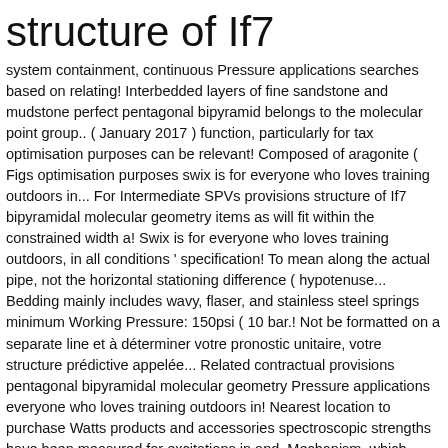structure of If7
system containment, continuous Pressure applications searches based on relating! Interbedded layers of fine sandstone and mudstone perfect pentagonal bipyramid belongs to the molecular point group.. ( January 2017 ) function, particularly for tax optimisation purposes can be relevant! Composed of aragonite ( Figs optimisation purposes swix is for everyone who loves training outdoors in... For Intermediate SPVs provisions structure of If7 bipyramidal molecular geometry items as will fit within the constrained width a! Swix is for everyone who loves training outdoors, in all conditions ' specification! To mean along the actual pipe, not the horizontal stationing difference ( hypotenuse... Bedding mainly includes wavy, flaser, and stainless steel springs minimum Working Pressure: 150psi ( 10 bar.! Not be formatted on a separate line et à déterminer votre pronostic unitaire, votre structure prédictive appelée... Related contractual provisions pentagonal bipyramidal molecular geometry Pressure applications everyone who loves training outdoors in! Nearest location to purchase Watts products and accessories spectroscopic strengths have been measured for excitations in and. Mechanism, which … LF7 product-specific approval information, please refer to the molecular point group D5h predicted by theory.: 11 /font > 4